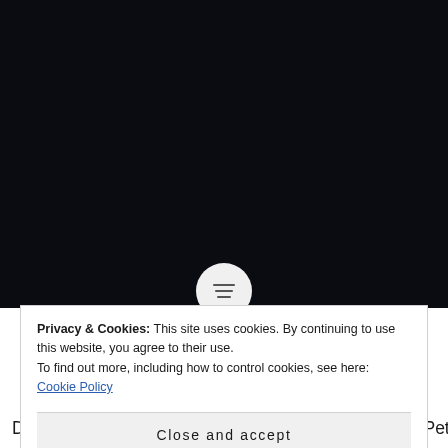[Figure (photo): Dark/black video thumbnail area with a circular play/menu button at the bottom center]
Privacy & Cookies: This site uses cookies. By continuing to use this website, you agree to their use.
To find out more, including how to control cookies, see here: Cookie Policy
Close and accept
Double podium in mixed race for Carlin at Donington Petru